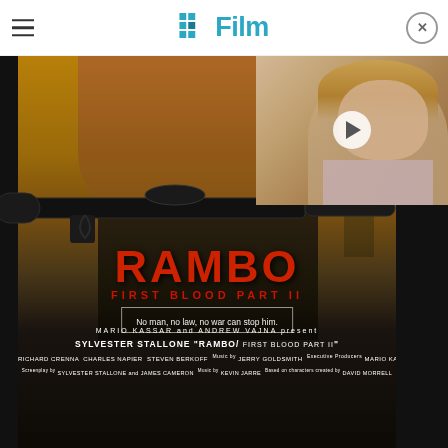/Film
[Figure (photo): Rambo: First Blood Part II movie poster showing Sylvester Stallone shirtless holding a large weapon, with the RAMBO title in red and credits below. An inset thumbnail shows a child's face with a play button overlay.]